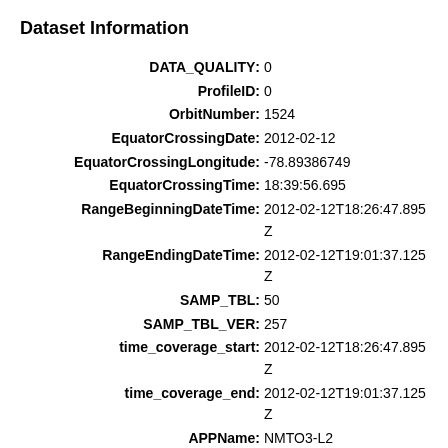Dataset Information
DATA_QUALITY: 0
ProfileID: 0
OrbitNumber: 1524
EquatorCrossingDate: 2012-02-12
EquatorCrossingLongitude: -78.89386749
EquatorCrossingTime: 18:39:56.695
RangeBeginningDateTime: 2012-02-12T18:26:47.895Z
RangeEndingDateTime: 2012-02-12T19:01:37.125Z
SAMP_TBL: 50
SAMP_TBL_VER: 257
time_coverage_start: 2012-02-12T18:26:47.895Z
time_coverage_end: 2012-02-12T19:01:37.125Z
APPName: NMTO3-L2
APPVersion: 2.1.22
PGEVersion: 2.1.22
LocalGranuleID: OMPS-NPP_NMTO3-L2_v2.1_2012m0212t180611_o01524
ArchiveSetNumber: 61004